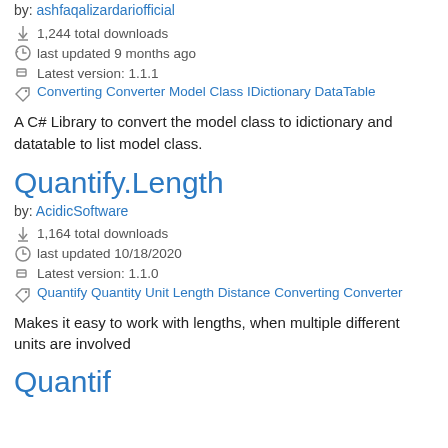by: ashfaqalizardariofficial
1,244 total downloads
last updated 9 months ago
Latest version: 1.1.1
Converting Converter Model Class IDictionary DataTable
A C# Library to convert the model class to idictionary and datatable to list model class.
Quantify.Length
by: AcidicSoftware
1,164 total downloads
last updated 10/18/2020
Latest version: 1.1.0
Quantify Quantity Unit Length Distance Converting Converter
Makes it easy to work with lengths, when multiple different units are involved
Quantif...